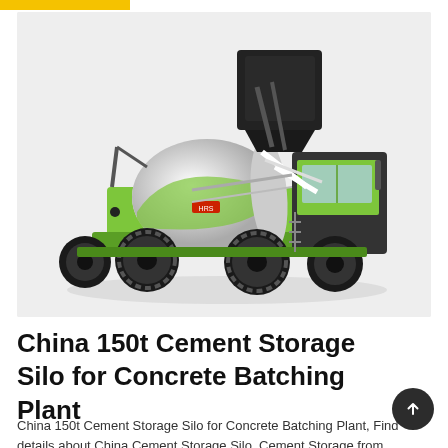[Figure (photo): Self-loading concrete mixer truck in lime green color with large rotating drum, black hopper on top, four large off-road tires, and operator cabin on the right side. Set against a light gray background.]
China 150t Cement Storage Silo for Concrete Batching Plant
China 150t Cement Storage Silo for Concrete Batching Plant, Find details about China Cement Storage Silo, Cement Storage from 150t Cement